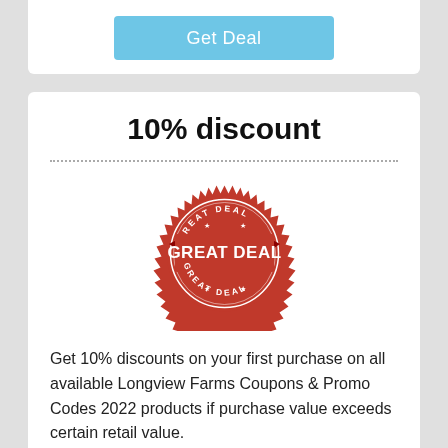[Figure (illustration): Light blue 'Get Deal' button centered on a white card]
10% discount
[Figure (illustration): Red circular 'GREAT DEAL' badge/stamp with serrated edges and ribbon banner]
Get 10% discounts on your first purchase on all available Longview Farms Coupons & Promo Codes 2022 products if purchase value exceeds certain retail value.
✓ Verified